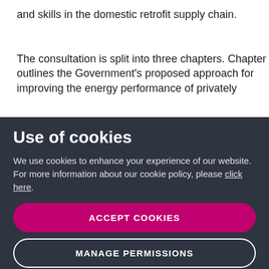and skills in the domestic retrofit supply chain.
The consultation is split into three chapters. Chapter 1 outlines the Government's proposed approach for improving the energy performance of privately
Use of cookies
We use cookies to enhance your experience of our website. For more information about our cookie policy, please click here.
ACCEPT COOKIES
MANAGE PERMISSIONS